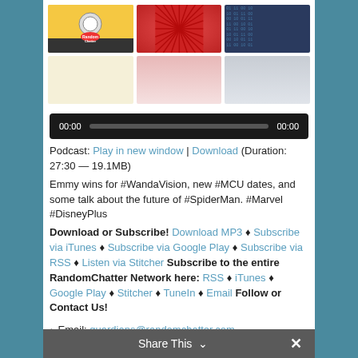[Figure (screenshot): Three podcast cover thumbnails top row: Random Chatter Network logo on yellow, red radial sunburst pattern, blue digital code background]
[Figure (screenshot): Three color swatches bottom row: cream/pale yellow, pink/light red, silver/gray]
[Figure (screenshot): Audio player bar showing 00:00 time stamps and gray progress bar on dark background]
Podcast: Play in new window | Download (Duration: 27:30 — 19.1MB)
Emmy wins for #WandaVision, new #MCU dates, and some talk about the future of #SpiderMan. #Marvel #DisneyPlus
Download or Subscribe! Download MP3 ♦ Subscribe via iTunes ♦ Subscribe via Google Play ♦ Subscribe via RSS ♦ Listen via Stitcher Subscribe to the entire RandomChatter Network here: RSS ♦ iTunes ♦ Google Play ♦ Stitcher ♦ TuneIn ♦ Email Follow or Contact Us!
Email: guardians@randomchatter.com
Share This